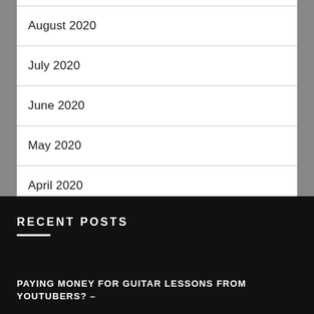August 2020
July 2020
June 2020
May 2020
April 2020
RECENT POSTS
PAYING MONEY FOR GUITAR LESSONS FROM YOUTUBERS? –